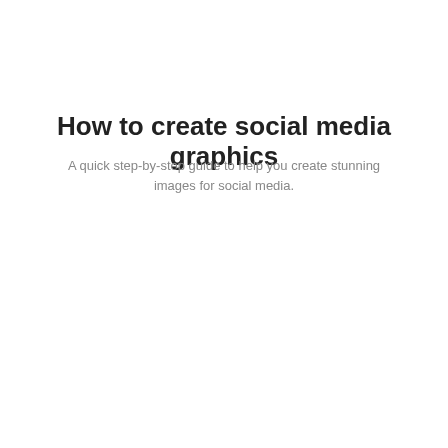How to create social media graphics
A quick step-by-step guide to help you create stunning images for social media.
[Figure (screenshot): Screenshot of the Stencil app login page showing a login form with Email Address and Password fields, a Login button, Create an account and Forgot password links, an 'or' separator, and a red Login with Namecheap button, on a light purple background.]